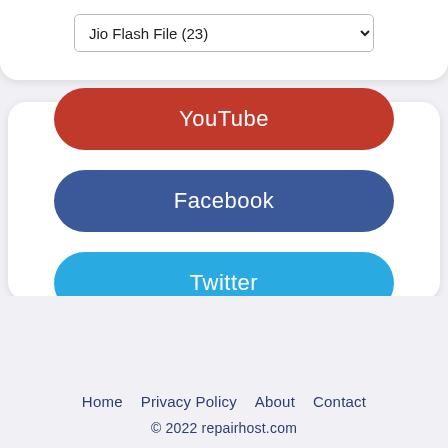[Figure (screenshot): Dropdown selector showing 'Jio Flash File (23)' with a dropdown arrow]
YouTube
Facebook
Twitter
Home  Privacy Policy  About  Contact
© 2022 repairhost.com